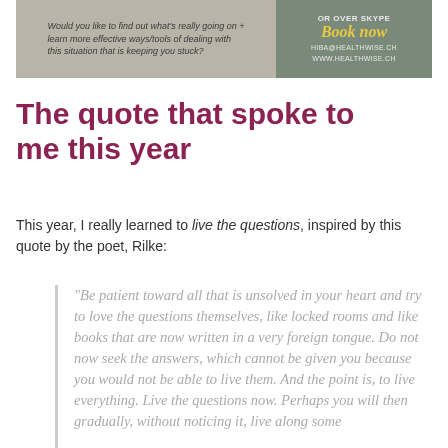[Figure (photo): Banner advertisement image with text on left side and booking call-to-action on right side]
The quote that spoke to me this year
This year, I really learned to live the questions, inspired by this quote by the poet, Rilke:
"Be patient toward all that is unsolved in your heart and try to love the questions themselves, like locked rooms and like books that are now written in a very foreign tongue. Do not now seek the answers, which cannot be given you because you would not be able to live them. And the point is, to live everything. Live the questions now. Perhaps you will then gradually, without noticing it, live along some...